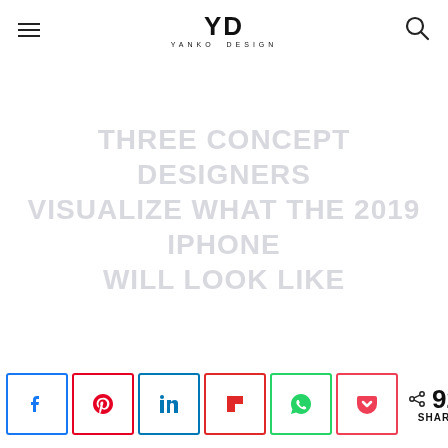YD YANKO DESIGN
THREE CONCEPT DESIGNERS VISUALIZE WHAT THE 2019 IPHONE WILL LOOK LIKE
[Figure (other): Social share bar with Facebook, Pinterest, LinkedIn, Flipboard, WhatsApp, Pocket buttons and 926 shares count]